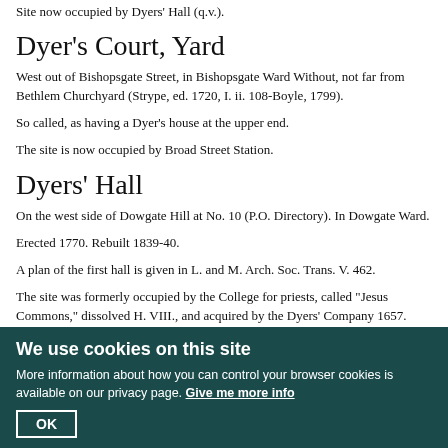Site now occupied by Dyers' Hall (q.v.).
Dyer's Court, Yard
West out of Bishopsgate Street, in Bishopsgate Ward Without, not far from Bethlem Churchyard (Strype, ed. 1720, I. ii. 108-Boyle, 1799).
So called, as having a Dyer's house at the upper end.
The site is now occupied by Broad Street Station.
Dyers' Hall
On the west side of Dowgate Hill at No. 10 (P.O. Directory). In Dowgate Ward.
Erected 1770. Rebuilt 1839-40.
A plan of the first hall is given in L. and M. Arch. Soc. Trans. V. 462.
The site was formerly occupied by the College for priests, called "Jesus Commons," dissolved H. VIII., and acquired by the Dyers' Company 1657. That portion of the site not required for the hall, when it was rebuilt in 1839-40, was let out as offices 1840-56, the roadway was widened and the line of frontage set back, whilst the entrance to the hall from College Street was
We use cookies on this site
More information about how you can control your browser cookies is available on our privacy page. Give me more info
OK